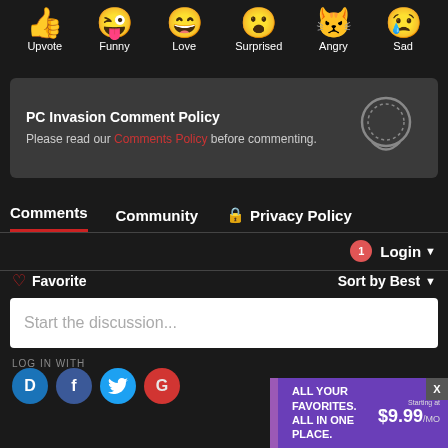[Figure (infographic): Row of emoji reaction icons with labels: Upvote (thumbs up), Funny (tongue out), Love (laughing), Surprised (wow face), Angry (angry emoji), Sad (crying emoji)]
PC Invasion Comment Policy
Please read our Comments Policy before commenting.
Comments | Community | Privacy Policy
1 Login ▼
♡ Favorite
Sort by Best ▼
Start the discussion...
LOG IN WITH
[Figure (screenshot): Social login icons: Disqus (D), Facebook (f), Twitter (bird). Ad banner overlay: ALL YOUR FAVORITES. ALL IN ONE PLACE. Starting at $9.99/MO with X close button.]